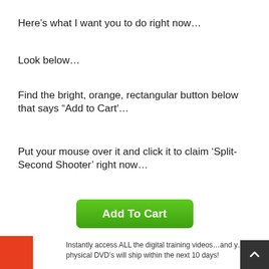Here’s what I want you to do right now…
Look below…
Find the bright, orange, rectangular button below that says “Add to Cart’…
Put your mouse over it and click it to claim ‘Split-Second Shooter’ right now…
[Figure (other): Green 'Add To Cart' button]
Instantly access ALL the digital training videos…and your physical DVD’s will ship within the next 10 days!